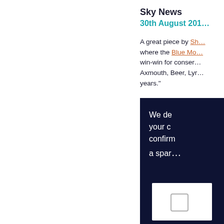Sky News
30th August 201...
A great piece by Sh... where the Blue Mo... win-win for conser... Axmouth, Beer, Lyr... years."
[Figure (screenshot): Dark navy subscription/confirmation widget with envelope icon and checkbox, showing partial text: 'We de... your c... confirm... a spar...']